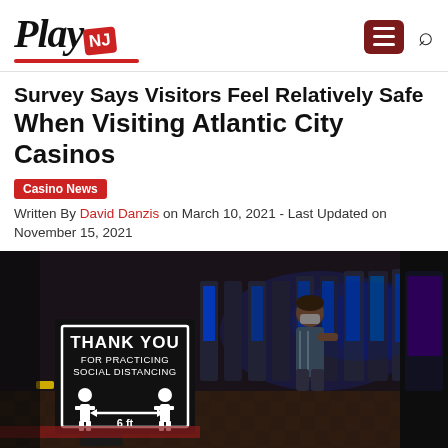PlayNJ
Survey Says Visitors Feel Relatively Safe When Visiting Atlantic City Casinos
Casino News
Written By David Danzis on March 10, 2021 - Last Updated on November 15, 2021
[Figure (photo): Atlantic City casino floor showing social distancing sign reading THANK YOU FOR PRACTICING SOCIAL DISTANCING with 6 ft distance pictogram. A masked person sitting at a slot machine is visible in the background.]